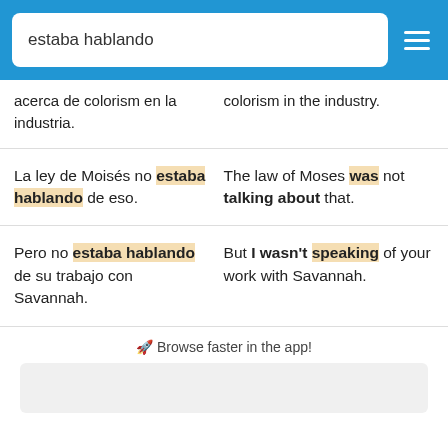estaba hablando
acerca de colorism en la industria. | colorism in the industry.
La ley de Moisés no estaba hablando de eso. | The law of Moses was not talking about that.
Pero no estaba hablando de su trabajo con Savannah. | But I wasn't speaking of your work with Savannah.
Browse faster in the app!